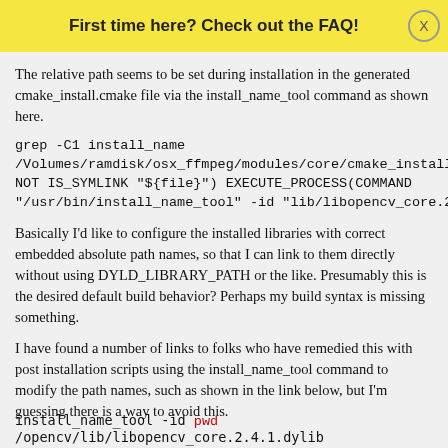/Volumes/ramdisk/osx_ffmpeg/lib/libopencv_core.2.4.dylib /Volumes/ramdisk/... .dylib
First time here? Check out the FAQ!
The relative path seems to be set during installation in the generated cmake_install.cmake file via the install_name_tool command as shown here.
grep -C1 install_name
/Volumes/ramdisk/osx_ffmpeg/modules/core/cmake_install.cmake
NOT IS_SYMLINK "${file}") EXECUTE_PROCESS(COMMAND
"/usr/bin/install_name_tool" -id "lib/libopencv_core.2.4.dylib"
Basically I'd like to configure the installed libraries with correct embedded absolute path names, so that I can link to them directly without using DYLD_LIBRARY_PATH or the like. Presumably this is the desired default build behavior? Perhaps my build syntax is missing something.
I have found a number of links to folks who have remedied this with post installation scripts using the install_name_tool command to modify the path names, such as shown in the link below, but I'm guessing there is a way to avoid this.
install_name_tool -id pwd /opencv/lib/libopencv_core.2.4.1.dylib